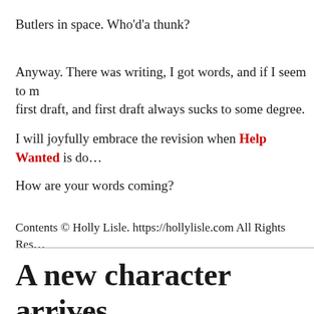Butlers in space. Who'd'a thunk?
Anyway. There was writing, I got words, and if I seem to m… first draft, and first draft always sucks to some degree.
I will joyfully embrace the revision when Help Wanted is do…
How are your words coming?
Contents © Holly Lisle. https://hollylisle.com All Rights Res…
A new character arrives
written by Holly
February 9, 2011
By Holly Lisle